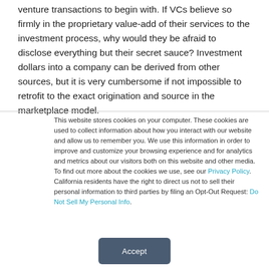venture transactions to begin with. If VCs believe so firmly in the proprietary value-add of their services to the investment process, why would they be afraid to disclose everything but their secret sauce? Investment dollars into a company can be derived from other sources, but it is very cumbersome if not impossible to retrofit to the exact origination and source in the marketplace model.
This website stores cookies on your computer. These cookies are used to collect information about how you interact with our website and allow us to remember you. We use this information in order to improve and customize your browsing experience and for analytics and metrics about our visitors both on this website and other media. To find out more about the cookies we use, see our Privacy Policy. California residents have the right to direct us not to sell their personal information to third parties by filing an Opt-Out Request: Do Not Sell My Personal Info.